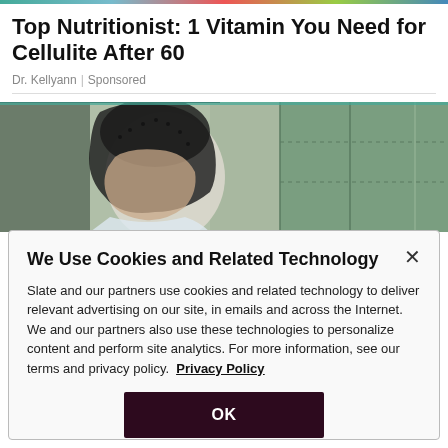Top Nutritionist: 1 Vitamin You Need for Cellulite After 60
Dr. Kellyann | Sponsored
[Figure (photo): Artistic halftone/mosaic image showing a person's silhouette with geometric green and grey background panels]
We Use Cookies and Related Technology
Slate and our partners use cookies and related technology to deliver relevant advertising on our site, in emails and across the Internet. We and our partners also use these technologies to personalize content and perform site analytics. For more information, see our terms and privacy policy. Privacy Policy
OK